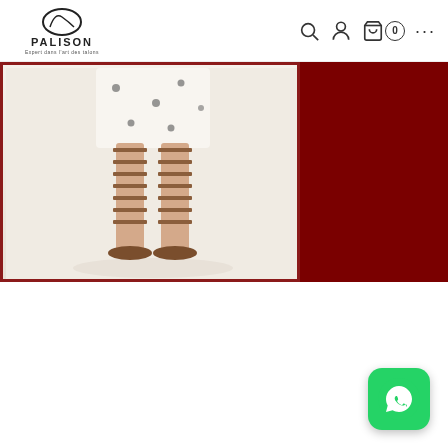PALISON - Expert dans l'art des talons
[Figure (photo): Banner image showing a person wearing strappy brown gladiator sandals with a white dress, on a light background, with dark red background on the right side]
[Figure (logo): WhatsApp floating button in bottom-right corner, green rounded square with white WhatsApp phone icon]